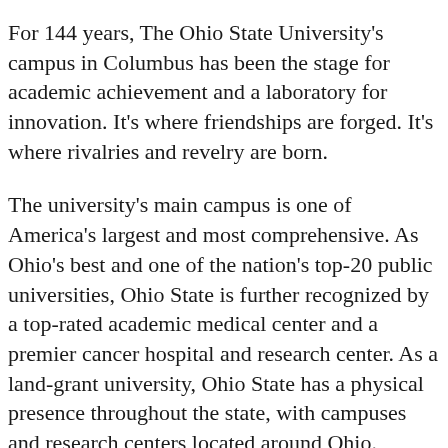For 144 years, The Ohio State University's campus in Columbus has been the stage for academic achievement and a laboratory for innovation. It's where friendships are forged. It's where rivalries and revelry are born.
The university's main campus is one of America's largest and most comprehensive. As Ohio's best and one of the nation's top-20 public universities, Ohio State is further recognized by a top-rated academic medical center and a premier cancer hospital and research center. As a land-grant university, Ohio State has a physical presence throughout the state, with campuses and research centers located around Ohio.
The Ohio State University College of Dentistry is the